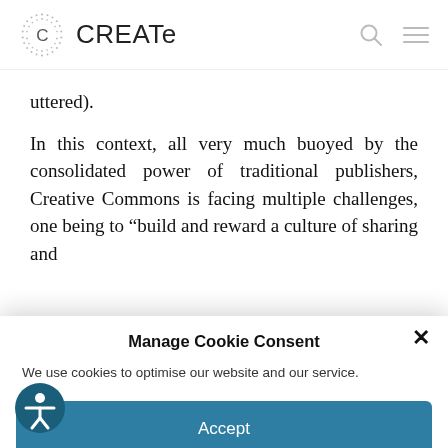CREATe
uttered).
In this context, all very much buoyed by the consolidated power of traditional publishers, Creative Commons is facing multiple challenges, one being to “build and reward a culture of sharing and
Manage Cookie Consent
We use cookies to optimise our website and our service.
Accept
Deny